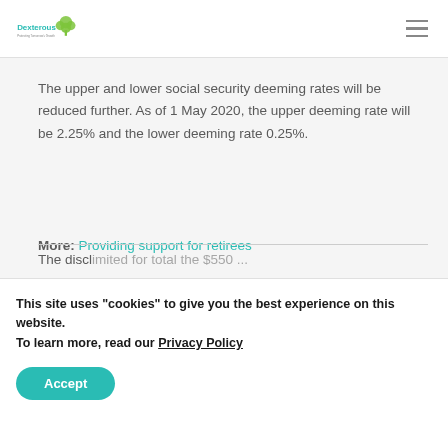Dexterous | Protecting Tomorrow's Growth
The upper and lower social security deeming rates will be reduced further. As of 1 May 2020, the upper deeming rate will be 2.25% and the lower deeming rate 0.25%.
More: Providing support for retirees
The discl... [partial, cut off]
This site uses "cookies" to give you the best experience on this website.
To learn more, read our Privacy Policy
Accept